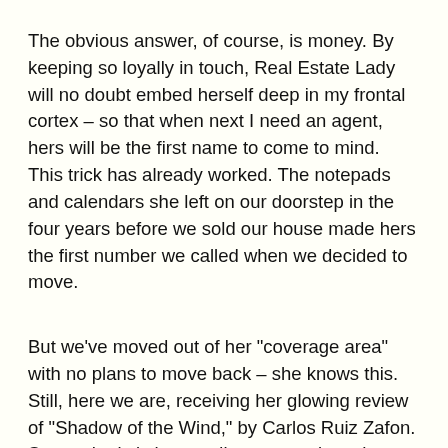The obvious answer, of course, is money. By keeping so loyally in touch, Real Estate Lady will no doubt embed herself deep in my frontal cortex – so that when next I need an agent, hers will be the first name to come to mind. This trick has already worked. The notepads and calendars she left on our doorstep in the four years before we sold our house made hers the first number we called when we decided to move.
But we've moved out of her "coverage area" with no plans to move back – she knows this. Still, here we are, receiving her glowing review of "Shadow of the Wind," by Carlos Ruiz Zafon. So emphatic is her reading suggestion, she has tucked two bookmarks (with her company's logo on them, of course) inside her note.